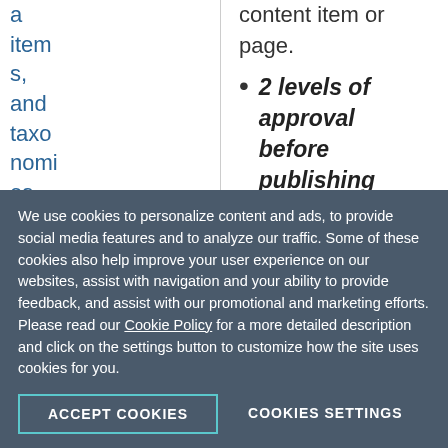a items, and taxonomies
+ Reuse content
— Cont
content item or page.
2 levels of approval before publishing — This workflow inserts two intermediate steps of approval between the standard lifecycle workflow of creating and publishing. In this case the lifecycle consist of creating, first level of approving, second level of approving, and then
We use cookies to personalize content and ads, to provide social media features and to analyze our traffic. Some of these cookies also help improve your user experience on our websites, assist with navigation and your ability to provide feedback, and assist with our promotional and marketing efforts. Please read our Cookie Policy for a more detailed description and click on the settings button to customize how the site uses cookies for you.
ACCEPT COOKIES
COOKIES SETTINGS